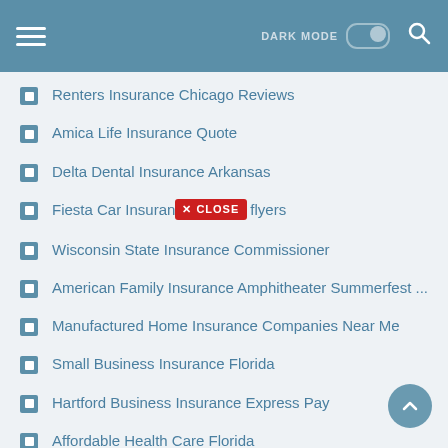DARK MODE [toggle] [search]
Renters Insurance Chicago Reviews
Amica Life Insurance Quote
Delta Dental Insurance Arkansas
Fiesta Car Insurance [CLOSE] flyers
Wisconsin State Insurance Commissioner
American Family Insurance Amphitheater Summerfest ...
Manufactured Home Insurance Companies Near Me
Small Business Insurance Florida
Hartford Business Insurance Express Pay
Affordable Health Care Florida
Guardian Life Insurance Member Login
Utah Department Of Insurance Complaints